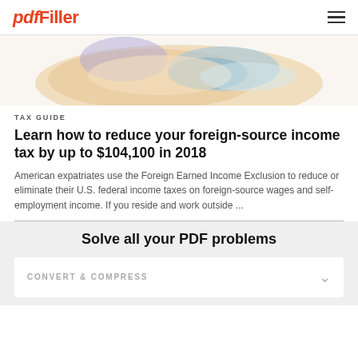pdfFiller
[Figure (illustration): Colorful illustrated hands holding or gesturing, with blue and peach/tan color tones, partially cropped at top of page]
TAX GUIDE
Learn how to reduce your foreign-source income tax by up to $104,100 in 2018
American expatriates use the Foreign Earned Income Exclusion to reduce or eliminate their U.S. federal income taxes on foreign-source wages and self-employment income. If you reside and work outside ...
Solve all your PDF problems
CONVERT & COMPRESS